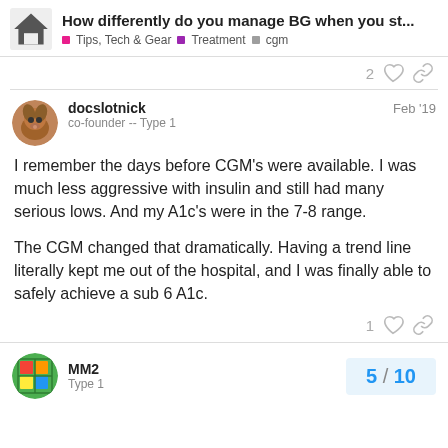How differently do you manage BG when you st... | Tips, Tech & Gear | Treatment | cgm
2 likes
docslotnick Feb '19
co-founder -- Type 1
I remember the days before CGM's were available. I was much less aggressive with insulin and still had many serious lows. And my A1c's were in the 7-8 range.

The CGM changed that dramatically. Having a trend line literally kept me out of the hospital, and I was finally able to safely achieve a sub 6 A1c.
1 like
MM2
Type 1
5 / 10